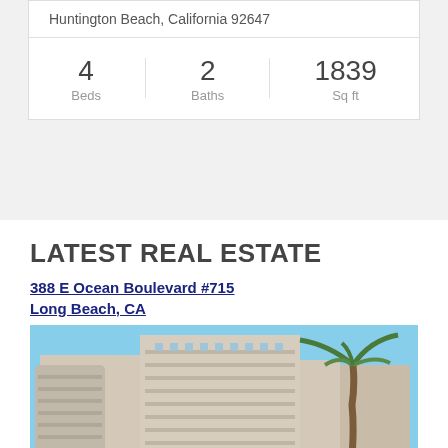Huntington Beach, California 92647
| Beds | Baths | Sq ft |
| --- | --- | --- |
| 4 | 2 | 1839 |
LATEST REAL ESTATE
388 E Ocean Boulevard #715
Long Beach, CA
[Figure (photo): Exterior photo of a tall multi-story condominium building with balconies, a palm tree on the right, and a blue sky background. Located at 388 E Ocean Boulevard #715, Long Beach, CA.]